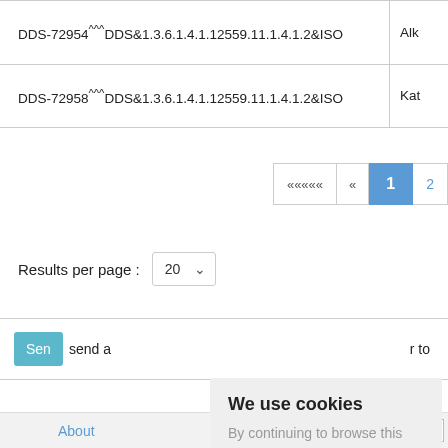| ID | Name |
| --- | --- |
| DDS-72954^^^DDS&1.3.6.1.4.1.12559.11.1.4.1.2&ISO | Alk |
| DDS-72958^^^DDS&1.3.6.1.4.1.12559.11.1.4.1.2&ISO | Kath |
«««« « 1 2
Results per page : 20
Sen r to send a
We use cookies
By continuing to browse this site you are agreeing to our use of cookies
Ok
About   Back to top   E